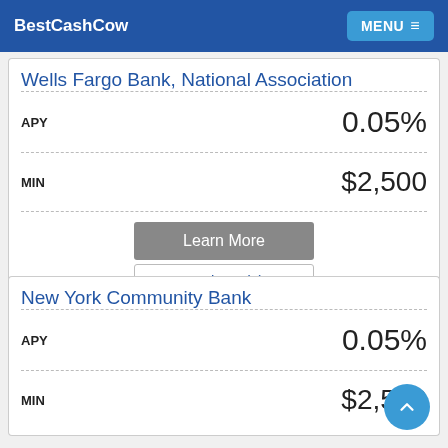BestCashCow | MENU
Wells Fargo Bank, National Association
| Field | Value |
| --- | --- |
| APY | 0.05% |
| MIN | $2,500 |
Learn More
Reviews (6)
New York Community Bank
| Field | Value |
| --- | --- |
| APY | 0.05% |
| MIN | $2,500 |